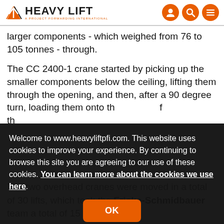HEAVY LIFT & PROJECT FORWARDING INTERNATIONAL
larger components - which weighed from 76 to 105 tonnes - through.
The CC 2400-1 crane started by picking up the smaller components below the ceiling, lifting them through the opening, and then, after a 90 degree turn, loading them onto th... f th...
Welcome to www.heavyliftpfi.com. This website uses cookies to improve your experience. By continuing to browse this site you are agreeing to our use of these cookies. You can learn more about the cookies we use here.
The two overhead cranes were moved in a total of 30 lifts, which took the Fricke-Schmidbauer team a total of 15 days of